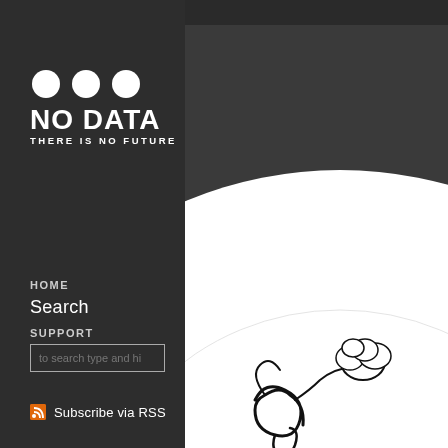[Figure (logo): No Data logo: three white circles above bold white text 'NO DATA' and 'THERE IS NO FUTURE']
HOME
Search
SUPPORT
to search type and hi
Subscribe via RSS
[Figure (photo): White vinyl record with black illustrated design (abstract figure/explosion graphic) on a dark background]